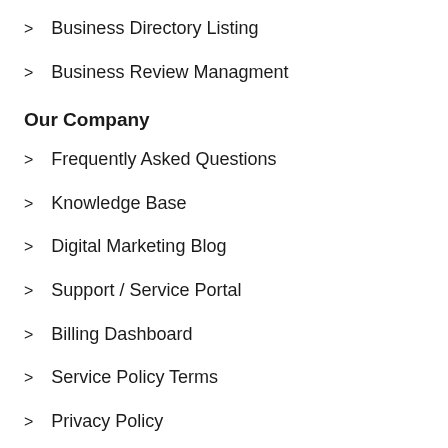Business Directory Listing
Business Review Managment
Our Company
Frequently Asked Questions
Knowledge Base
Digital Marketing Blog
Support / Service Portal
Billing Dashboard
Service Policy Terms
Privacy Policy
Contact Us